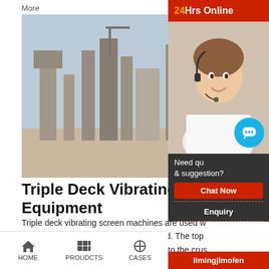More
[Figure (photo): Industrial factory/plant with silos and towers in desert landscape]
Triple Deck Vibrating Screen Machines Mining Equipment
Triple deck vibrating screen machines are used where a high degree of product size differentiation is required. The top deck separates oversized particles that are discharged to the crusher, and the bottom deck separates the fines from the product flow for...
More
[Figure (photo): Quarry/mining site with heavy machinery and rocky terrain]
[Figure (infographic): 24Hrs Online customer service sidebar with agent photo, Chat Now button, Enquiry link, and limingjlmofen brand link]
HOME   PROUDCTS   CASES   limingjlmofen